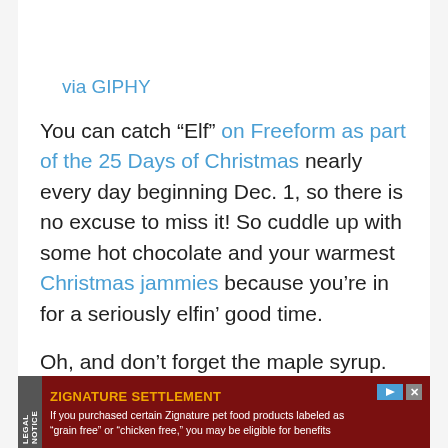via GIPHY
You can catch “Elf” on Freeform as part of the 25 Days of Christmas nearly every day beginning Dec. 1, so there is no excuse to miss it! So cuddle up with some hot chocolate and your warmest Christmas jammies because you’re in for a seriously elfin’ good time.
Oh, and don’t forget the maple syrup. You
[Figure (other): Advertisement banner: Zignature Settlement legal notice. Dark red background with legal notice tab on left side. Title in orange: ZIGNATURE SETTLEMENT. Body text: If you purchased certain Zignature pet food products labeled as “grain free” or “chicken free,” you may be eligible for benefits]